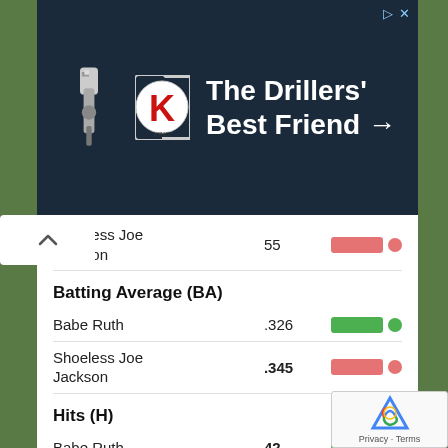[Figure (screenshot): Advertisement banner for King Oil Tools - 'The Drillers' Best Friend →' with dark blue background, King logo with red K, and drilling equipment image]
Shoeless Joe Jackson
55
Batting Average (BA)
Babe Ruth  .326
Shoeless Joe Jackson  .345
Hits (H)
Babe Ruth  42
Shoeless Joe Jackson  19